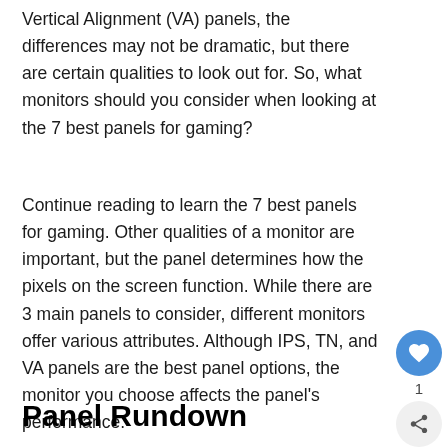Vertical Alignment (VA) panels, the differences may not be dramatic, but there are certain qualities to look out for. So, what monitors should you consider when looking at the 7 best panels for gaming?
Continue reading to learn the 7 best panels for gaming. Other qualities of a monitor are important, but the panel determines how the pixels on the screen function. While there are 3 main panels to consider, different monitors offer various attributes. Although IPS, TN, and VA panels are the best panel options, the monitor you choose affects the panel's performance.
Panel Rundown